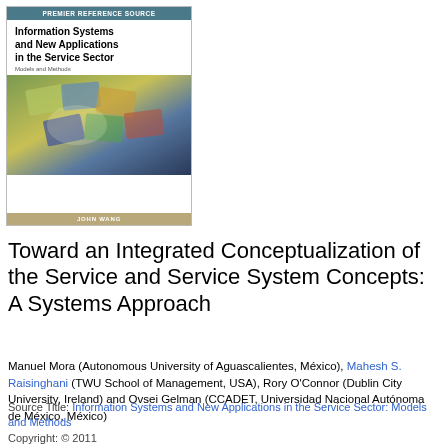[Figure (illustration): Book cover of 'Information Systems and New Applications in the Service Sector: Models and Methods' edited by John Wang, showing teal header bar with 'PREMIER REFERENCE SOURCE', bold book title, subtitle 'Models and Methods', a green/gold collage cover image with digital device panels, and a tan footer bar with 'JOHN WANG'.]
Toward an Integrated Conceptualization of the Service and Service System Concepts: A Systems Approach
Manuel Mora (Autonomous University of Aguascalientes, México), Mahesh S. Raisinghani (TWU School of Management, USA), Rory O'Connor (Dublin City University, Ireland) and Ovsei Gelman (CCADET, Universidad Nacional Autónoma de México, México)
Source Title: Information Systems and New Applications in the Service Sector: Models and Methods
Copyright: © 2011
Pages: 21